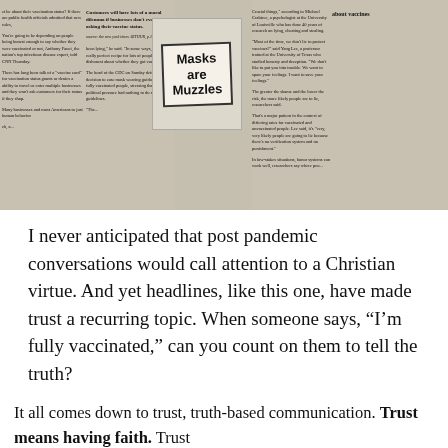[Figure (photo): Newspaper clipping showing headlines about vaccines, masks, and trust. A protest sign reads 'Masks are Muzzles'. Text visible about vaccination status, CDC guidance, and public health officials. Partial headline visible: 'about vaccines']
I never anticipated that post pandemic conversations would call attention to a Christian virtue. And yet headlines, like this one, have made trust a recurring topic. When someone says, “I’m fully vaccinated,” can you count on them to tell the truth?
It all comes down to trust, truth-based communication. Trust means having faith. Trust